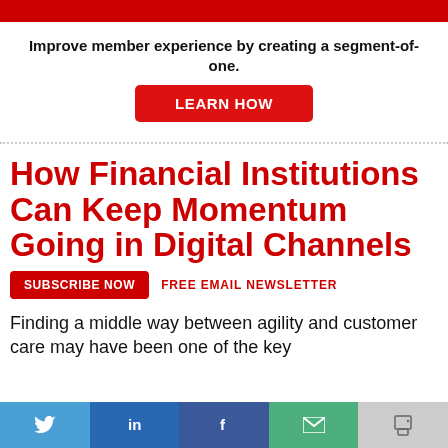[Figure (other): Red header bar at top of page]
Improve member experience by creating a segment-of-one.
[Figure (other): Red button with text LEARN HOW]
How Financial Institutions Can Keep Momentum Going in Digital Channels
[Figure (other): Red SUBSCRIBE NOW button followed by FREE EMAIL NEWSLETTER text]
Finding a middle way between agility and customer care may have been one of the key
[Figure (other): Social sharing bar with Twitter, LinkedIn, Facebook, Email, and Print buttons]